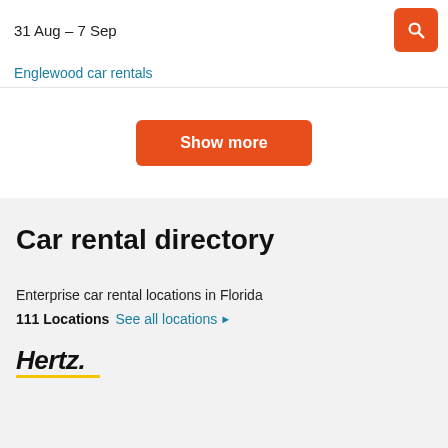31 Aug – 7 Sep
[Figure (other): Orange search button with magnifying glass icon]
Englewood car rentals
Show more
Car rental directory
Enterprise car rental locations in Florida
111 Locations  See all locations ▶
[Figure (logo): Hertz logo in bold italic black text with yellow underline]